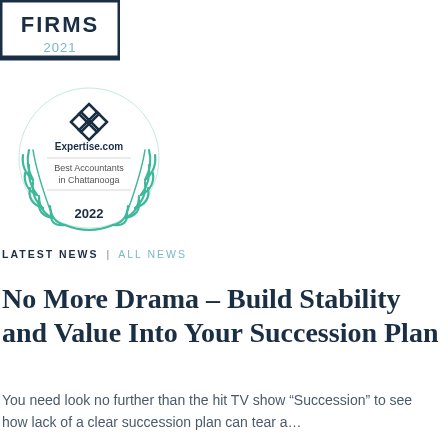[Figure (logo): FIRMS 2021 badge - rectangular logo with dark navy border and text 'FIRMS 2021']
[Figure (logo): Expertise.com badge - circular award badge with teal laurel wreath, diamond pattern logo, text 'Expertise.com Best Accountants in Chattanooga 2022']
LATEST NEWS | ALL NEWS
No More Drama – Build Stability and Value Into Your Succession Plan
You need look no further than the hit TV show “Succession” to see how lack of a clear succession plan can tear a…